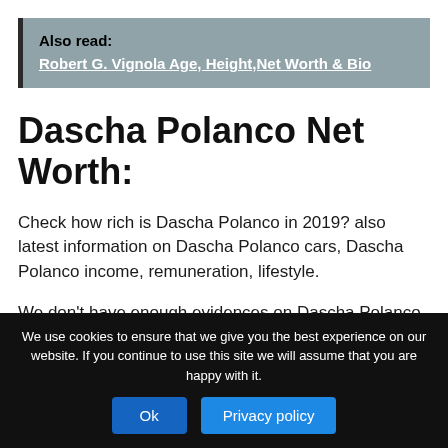Also read: Robert G. Vignola Age, Height,Net Worth & Bio
Dascha Polanco Net Worth:
Check how rich is Dascha Polanco in 2019? also latest information on Dascha Polanco cars, Dascha Polanco income, remuneration, lifestyle.
We don't have enough evidences on Dascha Polanco cars. Dascha Polanco lifestyle. We will update these
We use cookies to ensure that we give you the best experience on our website. If you continue to use this site we will assume that you are happy with it.